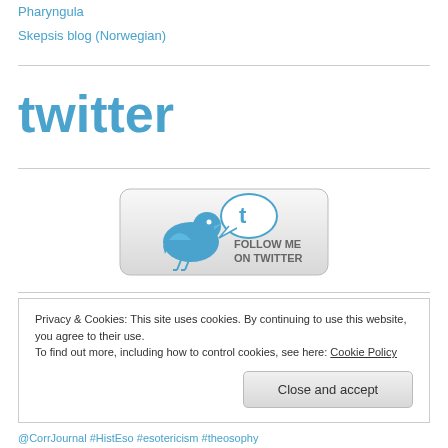Pharyngula
Skepsis blog (Norwegian)
[Figure (logo): Twitter logo in blue with stylized t characters]
[Figure (illustration): Follow me on Twitter button with blue bird and speech bubble]
Privacy & Cookies: This site uses cookies. By continuing to use this website, you agree to their use. To find out more, including how to control cookies, see here: Cookie Policy
Close and accept
@CorrJournal #HistEso #esotericism #theosophy